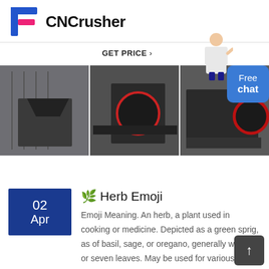[Figure (logo): CNCrusher logo with stylized F icon in blue and pink, followed by bold text 'CNCrusher']
GET PRICE ›
[Figure (photo): Three industrial crusher machine photos side by side in a factory setting. Left: jaw crusher, center: impact crusher, right: large jaw crusher with flywheel. A customer service avatar stands to the right with a 'Free chat' button overlay.]
02 Apr
🌿 Herb Emoji
Emoji Meaning. An herb, a plant used in cooking or medicine. Depicted as a green sprig, as of basil, sage, or oregano, generally with five or seven leaves. May be used for various content